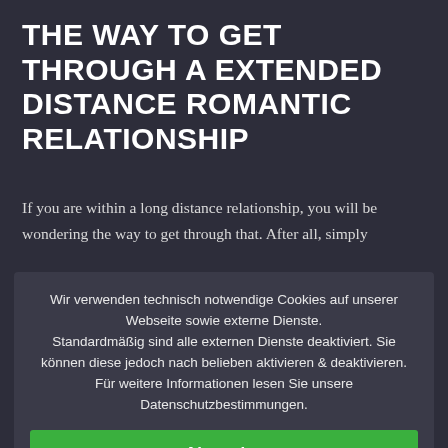THE WAY TO GET THROUGH A EXTENDED DISTANCE ROMANTIC RELATIONSHIP
If you are within a long distance relationship, you will be wondering the way to get through that. After all, simply
Wir verwenden technisch notwendige Cookies auf unserer Webseite sowie externe Dienste. Standardmäßig sind alle externen Dienste deaktiviert. Sie können diese jedoch nach belieben aktivieren & deaktivieren. Für weitere Informationen lesen Sie unsere Datenschutzbestimmungen.
✓ Akzeptieren
Personalisieren